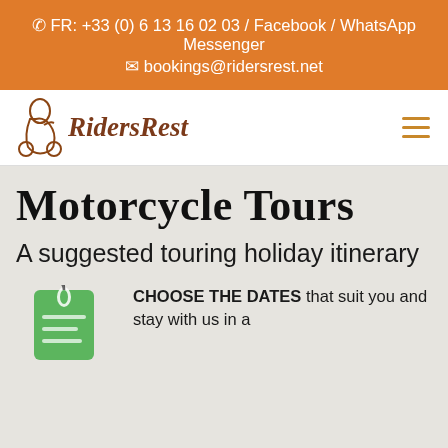FR: +33 (0) 6 13 16 02 03 / Facebook / WhatsApp Messenger
bookings@ridersrest.net
[Figure (logo): RidersRest logo with motorbike rider silhouette and cursive text 'RidersRest']
Motorcycle Tours
A suggested touring holiday itinerary
[Figure (photo): Green tag/label icon partially visible at bottom left]
CHOOSE THE DATES that suit you and stay with us in a